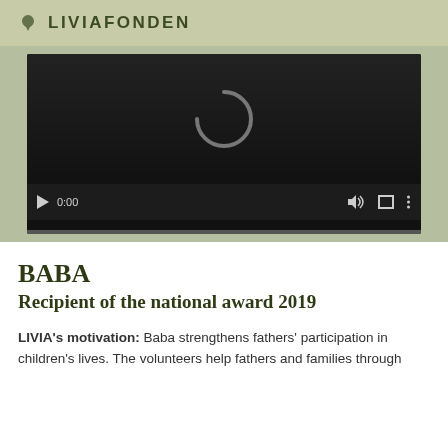LIVIAFONDEN
[Figure (screenshot): Video player screenshot showing a loading spinner (C-shaped arc) on a dark background, with playback controls showing 0:00 timestamp, play button, volume icon, fullscreen icon, and options icon. A progress bar is visible at the bottom.]
BABA
Recipient of the national award 2019
LIVIA's motivation: Baba strengthens fathers' participation in children's lives. The volunteers help fathers and families through